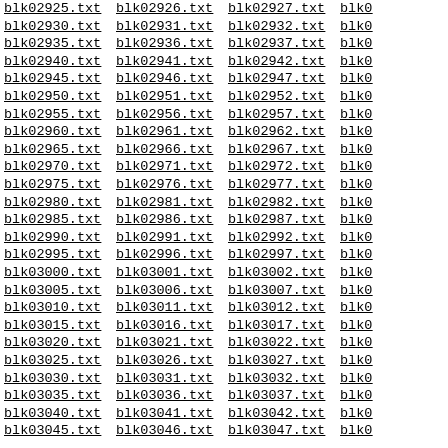blk02925.txt blk02926.txt blk02927.txt blk0...
blk02930.txt blk02931.txt blk02932.txt blk0...
blk02935.txt blk02936.txt blk02937.txt blk0...
blk02940.txt blk02941.txt blk02942.txt blk0...
blk02945.txt blk02946.txt blk02947.txt blk0...
blk02950.txt blk02951.txt blk02952.txt blk0...
blk02955.txt blk02956.txt blk02957.txt blk0...
blk02960.txt blk02961.txt blk02962.txt blk0...
blk02965.txt blk02966.txt blk02967.txt blk0...
blk02970.txt blk02971.txt blk02972.txt blk0...
blk02975.txt blk02976.txt blk02977.txt blk0...
blk02980.txt blk02981.txt blk02982.txt blk0...
blk02985.txt blk02986.txt blk02987.txt blk0...
blk02990.txt blk02991.txt blk02992.txt blk0...
blk02995.txt blk02996.txt blk02997.txt blk0...
blk03000.txt blk03001.txt blk03002.txt blk0...
blk03005.txt blk03006.txt blk03007.txt blk0...
blk03010.txt blk03011.txt blk03012.txt blk0...
blk03015.txt blk03016.txt blk03017.txt blk0...
blk03020.txt blk03021.txt blk03022.txt blk0...
blk03025.txt blk03026.txt blk03027.txt blk0...
blk03030.txt blk03031.txt blk03032.txt blk0...
blk03035.txt blk03036.txt blk03037.txt blk0...
blk03040.txt blk03041.txt blk03042.txt blk0...
blk03045.txt blk03046.txt blk03047.txt blk0...